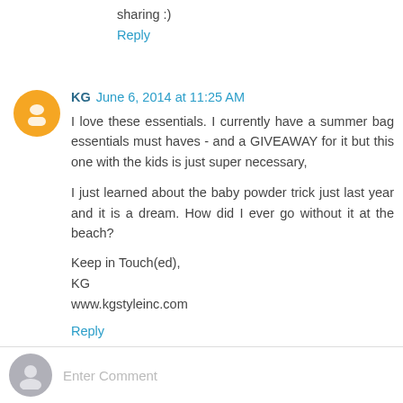sharing :)
Reply
KG  June 6, 2014 at 11:25 AM
I love these essentials. I currently have a summer bag essentials must haves - and a GIVEAWAY for it but this one with the kids is just super necessary,

I just learned about the baby powder trick just last year and it is a dream. How did I ever go without it at the beach?

Keep in Touch(ed),
KG
www.kgstyleinc.com
Reply
Enter Comment